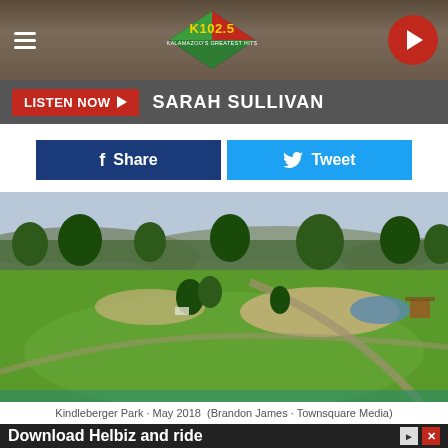[Figure (screenshot): K102.5 Kalamazoo radio station website header with logo diamond shape, hamburger menu icon on left, and red circular play button on right, over a warm brown/tan background]
LISTEN NOW ▶  SARAH SULLIVAN
f Share
🐦 Tweet
[Figure (photo): Aerial/elevated view of Kindleberger Park in May 2018, showing green lawns, baseball/softball field sand areas, a pond, playground equipment, trees, and hills in background]
Kindleberger Park · May 2018  (Brandon James · Townsquare Media)
Download Helbiz and ride